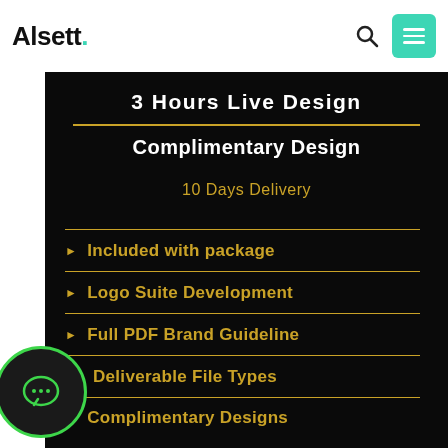Alsett.
3 Hours Live Design
Complimentary Design
10 Days Delivery
Included with package
Logo Suite Development
Full PDF Brand Guideline
Deliverable File Types
Complimentary Designs